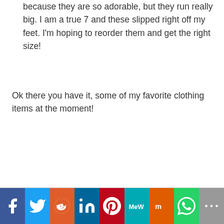because they are so adorable, but they run really big. I am a true 7 and these slipped right off my feet. I'm hoping to reorder them and get the right size!
Ok there you have it, some of my favorite clothing items at the moment!
[Figure (infographic): Social media sharing bar with icons for Facebook, Twitter, Reddit, LinkedIn, Pinterest, MeWe, Mix, WhatsApp, and More]